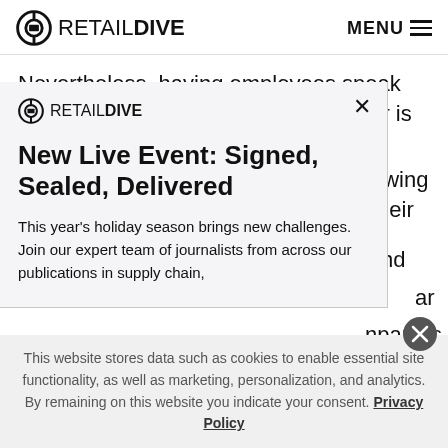RETAIL DIVE — MENU
Nevertheless, having employees speak out against the company they work for is dangerous for brands. It may signal to consumers that companies aren't following their
[Figure (screenshot): Retail Dive modal popup with logo, close button (×), title 'New Live Event: Signed, Sealed, Delivered', and body text: 'This year's holiday season brings new challenges. Join our expert team of journalists from across our publications in supply chain,']
nd
ar
npanies
out
This website stores data such as cookies to enable essential site functionality, as well as marketing, personalization, and analytics. By remaining on this website you indicate your consent. Privacy Policy